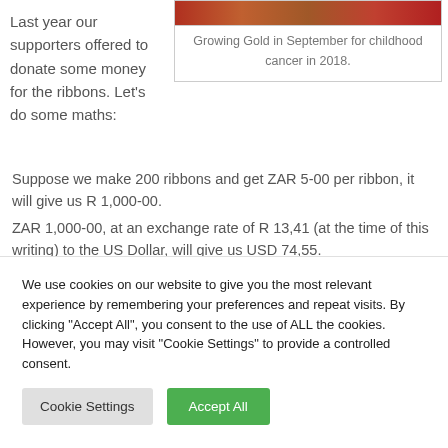Last year our supporters offered to donate some money for the ribbons.  Let's do some maths:
[Figure (photo): Photo of Growing Gold in September event for childhood cancer in 2018 — colorful image at top of right column]
Growing Gold in September for childhood cancer in 2018.
Suppose we make 200 ribbons and get ZAR 5-00 per ribbon, it will give us R 1,000-00.
ZAR 1,000-00, at an exchange rate of R 13,41 (at the time of this writing) to the US Dollar, will give us USD 74,55.
We use cookies on our website to give you the most relevant experience by remembering your preferences and repeat visits. By clicking "Accept All", you consent to the use of ALL the cookies. However, you may visit "Cookie Settings" to provide a controlled consent.